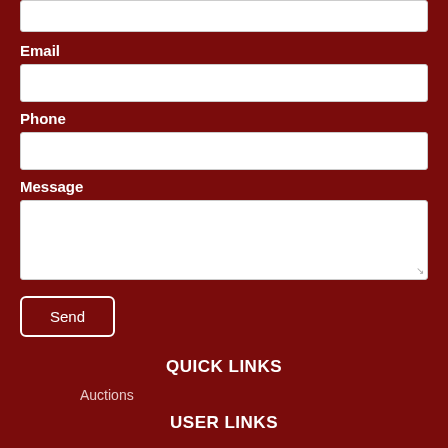Email
Phone
Message
Send
QUICK LINKS
Auctions
USER LINKS